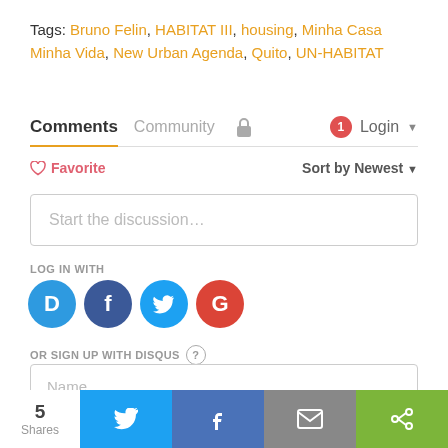Tags: Bruno Felin, HABITAT III, housing, Minha Casa Minha Vida, New Urban Agenda, Quito, UN-HABITAT
Comments  Community  🔒  1  Login
♡ Favorite  Sort by Newest
Start the discussion…
LOG IN WITH
[Figure (screenshot): Social login icons: Disqus (blue), Facebook (dark blue), Twitter (light blue), Google (red)]
OR SIGN UP WITH DISQUS ?
Name
5 Shares  Twitter share  Facebook share  Email share  Share button